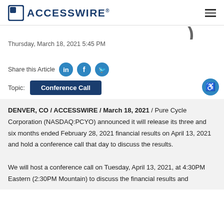ACCESSWIRE®
Thursday, March 18, 2021 5:45 PM
Share this Article
Topic: Conference Call
DENVER, CO / ACCESSWIRE / March 18, 2021 / Pure Cycle Corporation (NASDAQ:PCYO) announced it will release its three and six months ended February 28, 2021 financial results on April 13, 2021 and hold a conference call that day to discuss the results. We will host a conference call on Tuesday, April 13, 2021, at 4:30PM Eastern (2:30PM Mountain) to discuss the financial results and